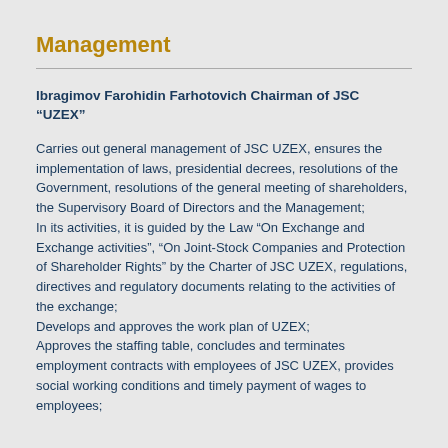Management
Ibragimov Farohidin Farhotovich Chairman of JSC “UZEX”
Carries out general management of JSC UZEX, ensures the implementation of laws, presidential decrees, resolutions of the Government, resolutions of the general meeting of shareholders, the Supervisory Board of Directors and the Management;
In its activities, it is guided by the Law “On Exchange and Exchange activities”, “On Joint-Stock Companies and Protection of Shareholder Rights” by the Charter of JSC UZEX, regulations, directives and regulatory documents relating to the activities of the exchange;
Develops and approves the work plan of UZEX;
Approves the staffing table, concludes and terminates employment contracts with employees of JSC UZEX, provides social working conditions and timely payment of wages to employees;